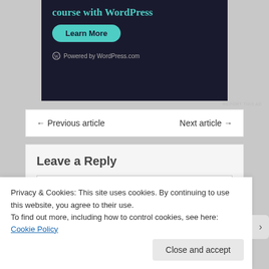[Figure (screenshot): WordPress.com advertisement banner with dark background, teal text 'course with WordPress', green Learn More button, and Powered by WordPress.com footer]
REPORT THIS AD
← Previous article    Next article →
Leave a Reply
Privacy & Cookies: This site uses cookies. By continuing to use this website, you agree to their use.
To find out more, including how to control cookies, see here: Cookie Policy
Close and accept